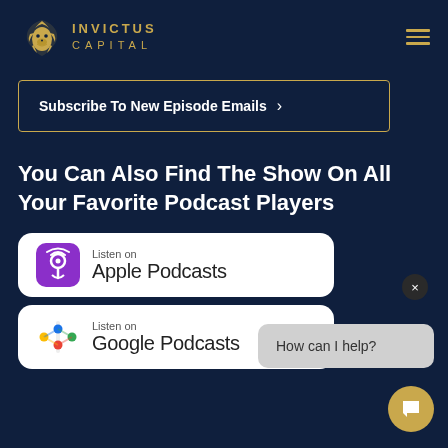[Figure (logo): Invictus Capital logo — golden lion head with text INVICTUS CAPITAL]
Subscribe To New Episode Emails >
You Can Also Find The Show On All Your Favorite Podcast Players
[Figure (logo): Apple Podcasts badge — purple podcast icon with text Listen on Apple Podcasts]
[Figure (logo): Google Podcasts badge — colorful Google dots icon with text Listen on Google Podcasts]
[Figure (screenshot): Chat widget with message 'How can I help?' and close X button and gold chat button]